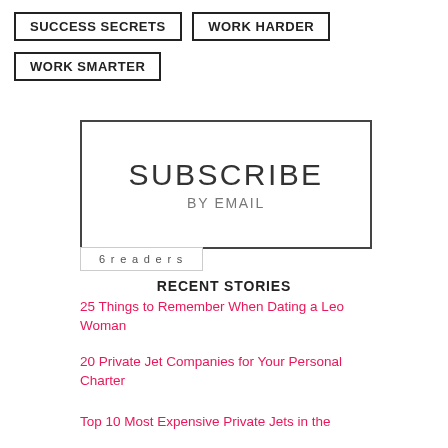SUCCESS SECRETS
WORK HARDER
WORK SMARTER
[Figure (other): Subscribe by email box with text 'SUBSCRIBE' and 'BY EMAIL']
6  readers
RECENT STORIES
25 Things to Remember When Dating a Leo Woman
20 Private Jet Companies for Your Personal Charter
Top 10 Most Expensive Private Jets in the